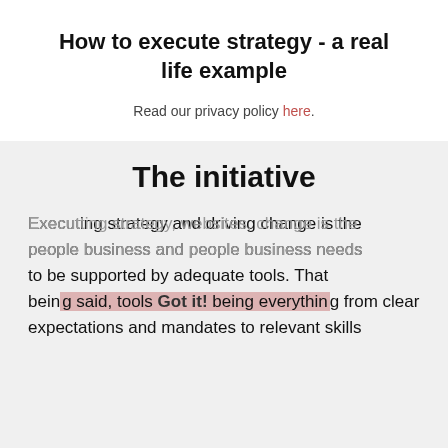How to execute strategy - a real life example
Read our privacy policy here.
The initiative
Executing strategy and driving change is the people business and people business needs to be supported by adequate tools. That being said, tools being everything from clear expectations and mandates to relevant skills